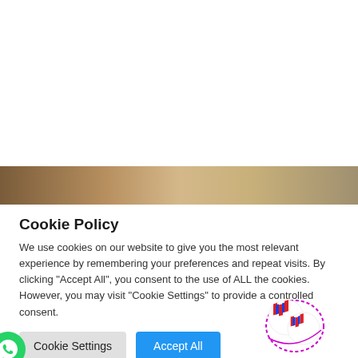[Figure (photo): Partial photo strip showing a blurred background scene with warm brown and tan tones]
Cookie Policy
We use cookies on our website to give you the most relevant experience by remembering your preferences and repeat visits. By clicking “Accept All”, you consent to the use of ALL the cookies. However, you may visit "Cookie Settings" to provide a controlled consent.
[Figure (other): Cookie Settings button (grey) and Accept All button (blue), with WhatsApp chat icon on left and company logo (overlapping circles with zigzag M logo) on right]